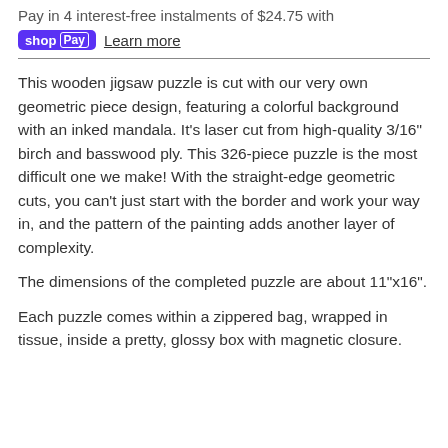Pay in 4 interest-free instalments of $24.75 with
shopPay  Learn more
This wooden jigsaw puzzle is cut with our very own geometric piece design, featuring a colorful background with an inked mandala. It's laser cut from high-quality 3/16" birch and basswood ply. This 326-piece puzzle is the most difficult one we make! With the straight-edge geometric cuts, you can't just start with the border and work your way in, and the pattern of the painting adds another layer of complexity.
The dimensions of the completed puzzle are about 11"x16".
Each puzzle comes within a zippered bag, wrapped in tissue, inside a pretty, glossy box with magnetic closure.